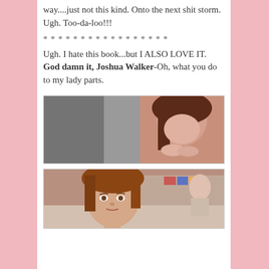way....just not this kind. Onto the next shit storm. Ugh. Too-da-loo!!!
* * * * * * * * * * * * * * * * *
Ugh. I hate this book...but I ALSO LOVE IT. God damn it, Joshua Walker-Oh, what you do to my lady parts.
[Figure (photo): A woman with reddish-brown hair smiling and resting her chin on her hands, partially in grayscale on the left, in color on the right]
[Figure (photo): A young woman with reddish-brown hair looking at camera, office setting in background]